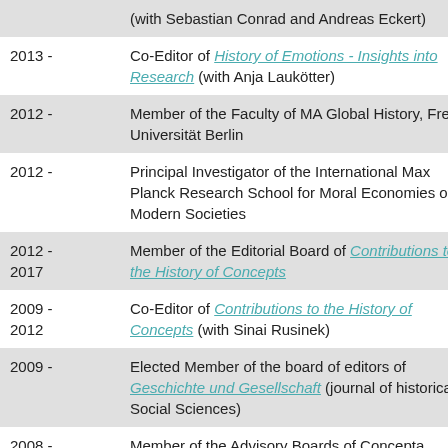| Date | Role/Description |
| --- | --- |
|  | (with Sebastian Conrad and Andreas Eckert) |
| 2013 - | Co-Editor of History of Emotions - Insights into Research (with Anja Laukötter) |
| 2012 - | Member of the Faculty of MA Global History, Freie Universität Berlin |
| 2012 - | Principal Investigator of the International Max Planck Research School for Moral Economies of Modern Societies |
| 2012 -
2017 | Member of the Editorial Board of Contributions to the History of Concepts |
| 2009 -
2012 | Co-Editor of Contributions to the History of Concepts (with Sinai Rusinek) |
| 2009 - | Elected Member of the board of editors of Geschichte und Gesellschaft (journal of historical Social Sciences) |
| 2008 - | Member of the Advisory Boards of Concepta (International Research School in Conceptual |